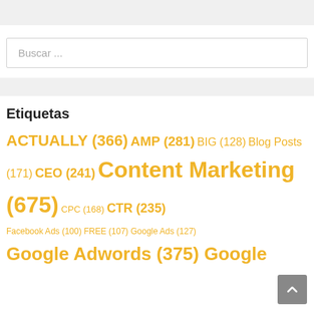Buscar ...
Etiquetas
ACTUALLY (366) AMP (281) BIG (128) Blog Posts (171) CEO (241) Content Marketing (675) CPC (168) CTR (235) Facebook Ads (100) FREE (107) Google Ads (127) Google Adwords (375) Google